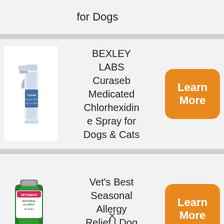for Dogs
[Figure (photo): BEXLEY LABS Curaseb Medicated Chlorhexidine Spray bottle product image]
BEXLEY LABS Curaseb Medicated Chlorhexidine Spray for Dogs & Cats
Learn More
[Figure (photo): Vet's Best Seasonal Allergy Relief dog allergy supplement bottle with tablets]
Vet's Best Seasonal Allergy Relief | Dog Allergy
Learn More
×